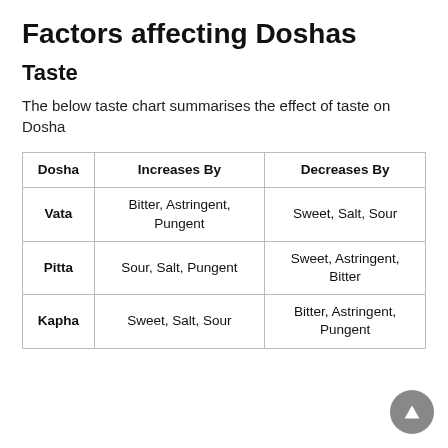Factors affecting Doshas
Taste
The below taste chart summarises the effect of taste on Dosha
| Dosha | Increases By | Decreases By |
| --- | --- | --- |
| Vata | Bitter, Astringent, Pungent | Sweet, Salt, Sour |
| Pitta | Sour, Salt, Pungent | Sweet, Astringent, Bitter |
| Kapha | Sweet, Salt, Sour | Bitter, Astringent, Pungent |